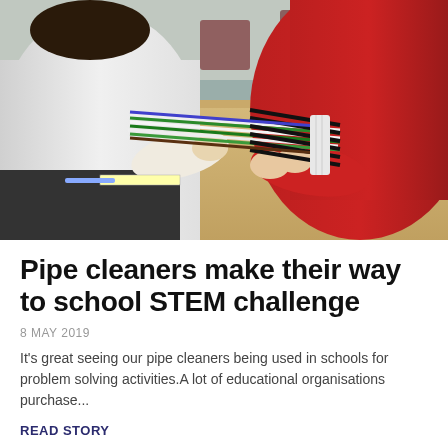[Figure (photo): Two students sitting at a wooden classroom table working with pipe cleaners. One student wears a white shirt (left), another wears a red sweater (right). Multiple colourful pipe cleaners are spread across the table.]
Pipe cleaners make their way to school STEM challenge
8 MAY 2019
It's great seeing our pipe cleaners being used in schools for problem solving activities.A lot of educational organisations purchase...
READ STORY